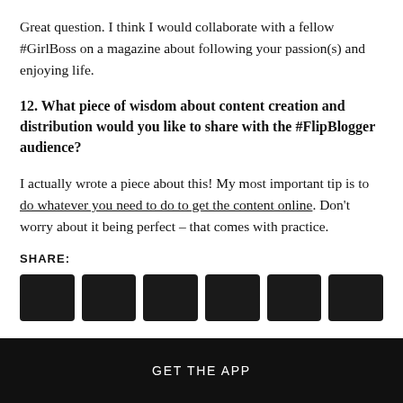Great question. I think I would collaborate with a fellow #GirlBoss on a magazine about following your passion(s) and enjoying life.
12. What piece of wisdom about content creation and distribution would you like to share with the #FlipBlogger audience?
I actually wrote a piece about this! My most important tip is to do whatever you need to do to get the content online. Don't worry about it being perfect – that comes with practice.
SHARE:
[Figure (other): Row of six dark/black social share icon buttons]
GET THE APP